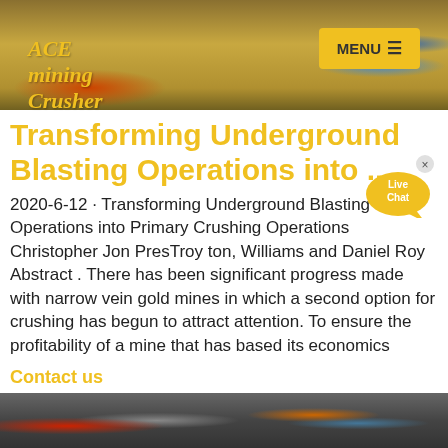ACE mining Crusher
[Figure (photo): Mining site aerial/ground photo used as website header background]
Transforming Underground Blasting Operations into ...
2020-6-12 · Transforming Underground Blasting Operations into Primary Crushing Operations Christopher Jon PresTroy ton, Williams and Daniel Roy Abstract . There has been significant progress made with narrow vein gold mines in which a second option for crushing has begun to attract attention. To ensure the profitability of a mine that has based its economics
[Figure (illustration): Live Chat speech bubble button overlay in top-right area]
Contact us
[Figure (photo): Mining equipment photo in footer area]